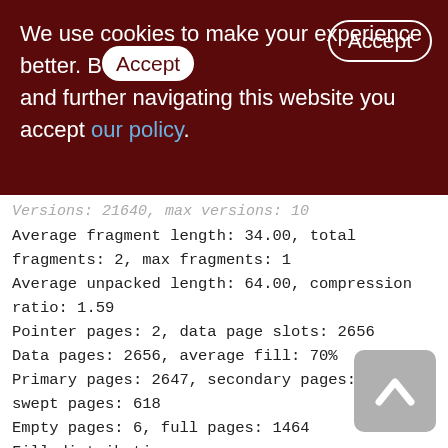We use cookies to make your experience better. By accepting and further navigating this website you accept our policy.
Versions: 21640, max versions: 10
Average fragment length: 34.00, total fragments: 2, max fragments: 1
Average unpacked length: 64.00, compression ratio: 1.59
Pointer pages: 2, data page slots: 2656
Data pages: 2656, average fill: 70%
Primary pages: 2647, secondary pages: 9, swept pages: 618
Empty pages: 6, full pages: 1464
Fill distribution:
0 - 19% = 8
20 - 39% = 24